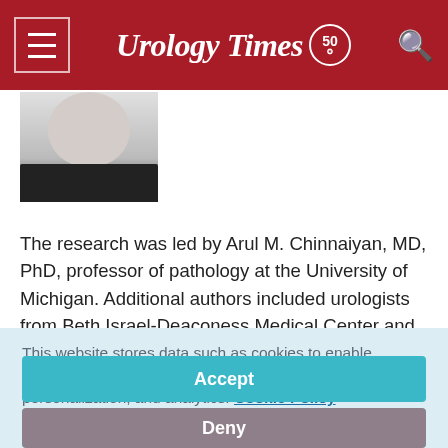Urology Times 50
[Figure (photo): Grayscale headshot of a man in a suit, cropped to show lower face and shoulders]
The research was led by Arul M. Chinnaiyan, MD, PhD, professor of pathology at the University of Michigan. Additional authors included urologists from Beth Israel-Deaconess Medical Center and the Dana-Farber Cancer
This website stores data such as cookies to enable essential site functionality, as well as marketing, personalization, and analytics. Cookie Policy
Accept
Deny